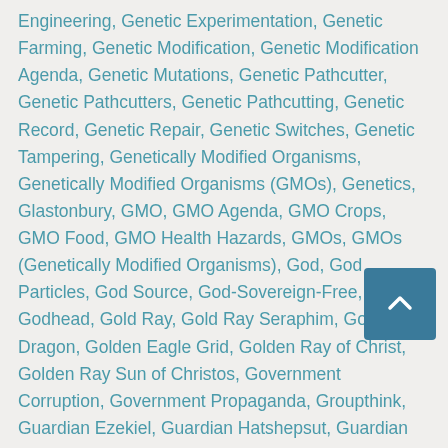Engineering, Genetic Experimentation, Genetic Farming, Genetic Modification, Genetic Modification Agenda, Genetic Mutations, Genetic Pathcutter, Genetic Pathcutters, Genetic Pathcutting, Genetic Record, Genetic Repair, Genetic Switches, Genetic Tampering, Genetically Modified Organisms, Genetically Modified Organisms (GMOs), Genetics, Glastonbury, GMO, GMO Agenda, GMO Crops, GMO Food, GMO Health Hazards, GMOs, GMOs (Genetically Modified Organisms), God, God Particles, God Source, God-Sovereign-Free, Godhead, Gold Ray, Gold Ray Seraphim, Golden Dragon, Golden Eagle Grid, Golden Ray of Christ, Golden Ray Sun of Christos, Government Corruption, Government Propaganda, Groupthink, Guardian Ezekiel, Guardian Hatshepsut, Guardian Host, Guardian King Arthur, Guardians, Guinevere (Brigid), Harmonic Universe, Hatshepsut, Hierogamic Union, Hierogamy, Hieros Gamos, Higher Cd Expression, Hijacked Consciousness, Hijacked Souls, Hijacked Timelines, Hive Mind, Hive Mind Control, Hive Net, Holographic Projector, Holy Emerald Order, Holy Father, Holy